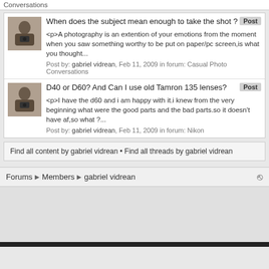Conversations
When does the subject mean enough to take the shot ?
<p>A photography is an extention of your emotions from the moment when you saw something worthy to be put on paper/pc screen,is what you thought...
Post by: gabriel vidrean, Feb 11, 2009 in forum: Casual Photo Conversations
D40 or D60? And Can I use old Tamron 135 lenses?
<p>I have the d60 and i am happy with it.i knew from the very beginning what were the good parts and the bad parts.so it doesn't have af,so what ?...
Post by: gabriel vidrean, Feb 11, 2009 in forum: Nikon
Find all content by gabriel vidrean • Find all threads by gabriel vidrean
Forums ▶ Members ▶ gabriel vidrean